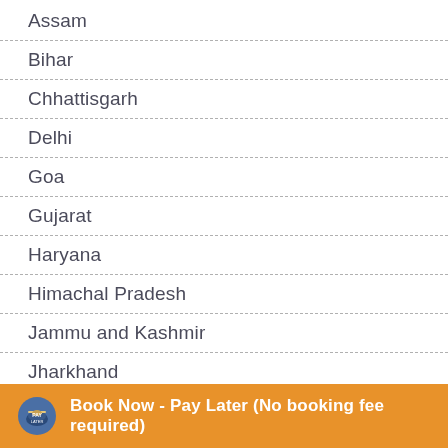Assam
Bihar
Chhattisgarh
Delhi
Goa
Gujarat
Haryana
Himachal Pradesh
Jammu and Kashmir
Jharkhand
Karnataka
Kerala
Ladakh Region
Book Now - Pay Later (No booking fee required)